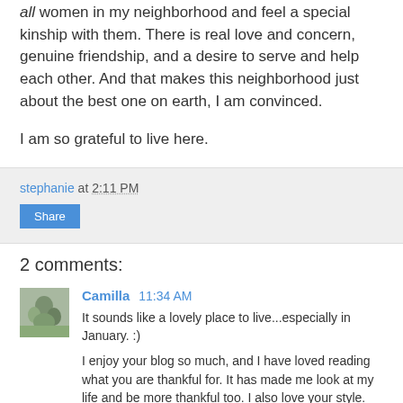all women in my neighborhood and feel a special kinship with them. There is real love and concern, genuine friendship, and a desire to serve and help each other. And that makes this neighborhood just about the best one on earth, I am convinced.
I am so grateful to live here.
stephanie at 2:11 PM
Share
2 comments:
Camilla 11:34 AM
It sounds like a lovely place to live...especially in January. :)
I enjoy your blog so much, and I have loved reading what you are thankful for. It has made me look at my life and be more thankful too. I also love your style. Your home looks